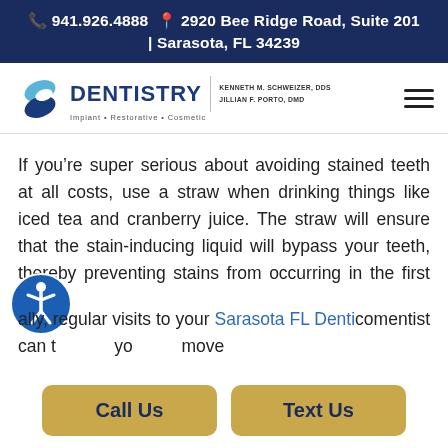📞 941.926.4888 📍 2920 Bee Ridge Road, Suite 201 | Sarasota, FL 34239
[Figure (logo): Dentistry logo with stylized S icon, text DENTISTRY Implant • Restorative • Cosmetic, Kenneth M. Schweizer DDS, Jillian F. Porto DMD]
If you're super serious about avoiding stained teeth at all costs, use a straw when drinking things like iced tea and cranberry juice. The straw will ensure that the stain-inducing liquid will bypass your teeth, thereby preventing stains from occurring in the first place.
ally, regular visits to your Sarasota FL Denti[stry] com[pany] entist can t[...] y[our] move